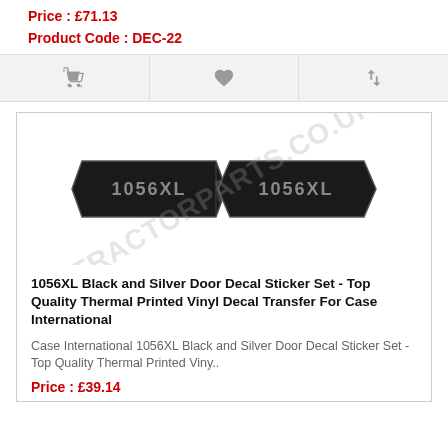Price : £71.13
Product Code : DEC-22
[Figure (illustration): Three icon buttons: shopping cart, heart/wishlist, and compare arrows, on a light grey background bar]
[Figure (photo): 1056XL black and silver door decal sticker set showing two elongated black panels with '1056XL' text in silver, with TRACTORPARTS.CO.UK watermark]
1056XL Black and Silver Door Decal Sticker Set - Top Quality Thermal Printed Vinyl Decal Transfer For Case International
Case International 1056XL Black and Silver Door Decal Sticker Set - Top Quality Thermal Printed Viny..
Price : £39.14